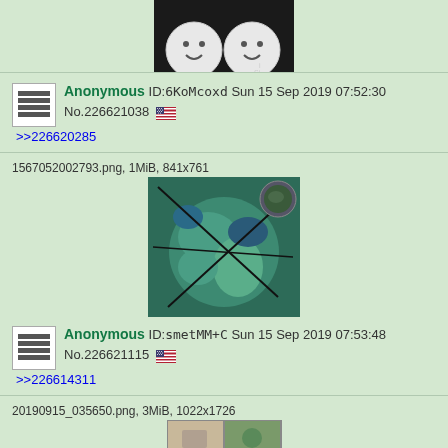[Figure (photo): Two white smiley face buttons/pins on a black background, partially visible at top of page]
Anonymous ID:6KoMcoxd Sun 15 Sep 2019 07:52:30
No.226621038 [US flag]
>>226620285
1567052002793.png, 1MiB, 841x761
[Figure (photo): Satellite or topographic map image with teal/green colors showing islands or landmasses with black lines, small circular inset in top right]
Anonymous ID:smetMM+C Sun 15 Sep 2019 07:53:48
No.226621115 [US flag]
>>226614311
20190915_035650.png, 3MiB, 1022x1726
[Figure (photo): Collage of multiple images, partially visible at bottom of page]